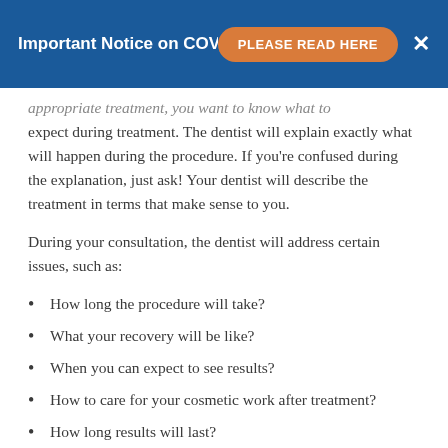Important Notice on COVID — PLEASE READ HERE ✕
appropriate treatment, you want to know what to expect during treatment. The dentist will explain exactly what will happen during the procedure. If you're confused during the explanation, just ask! Your dentist will describe the treatment in terms that make sense to you.
During your consultation, the dentist will address certain issues, such as:
How long the procedure will take?
What your recovery will be like?
When you can expect to see results?
How to care for your cosmetic work after treatment?
How long results will last?
Is the procedure reversible?